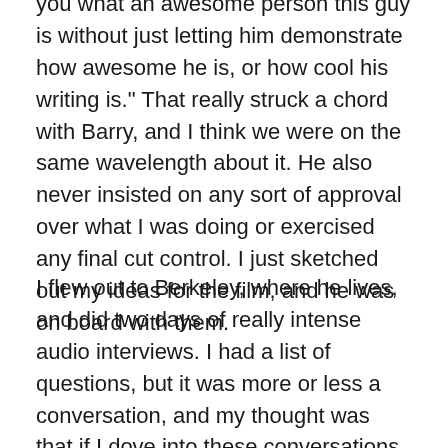you what an awesome person this guy is without just letting him demonstrate how awesome he is, or how cool his writing is." That really struck a chord with Barry, and I think we were on the same wavelength about it. He also never insisted on any sort of approval over what I was doing or exercised any final cut control. I just sketched out my ideas for the film, and he was on board with them.
I flew out to Berkeley, where he lives, and did two days of really intense audio interviews. I had a list of questions, but it was more or less a conversation, and my thought was that if I dove into these conversations, I could use that as a framework for the stories. One of the things about the stories that interests me the most is that they are autobiographical, but they are not a memoir. He uses his memories to create fictionalized versions of that time period. Picasso said that “art is a lie that helps us see the